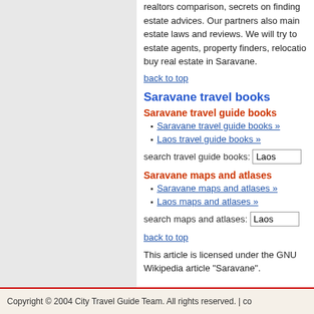realtors comparison, secrets on finding estate advices. Our partners also maintain estate laws and reviews. We will try to estate agents, property finders, relocation buy real estate in Saravane.
back to top
Saravane travel books
Saravane travel guide books
Saravane travel guide books »
Laos travel guide books »
search travel guide books: Laos
Saravane maps and atlases
Saravane maps and atlases »
Laos maps and atlases »
search maps and atlases: Laos
back to top
This article is licensed under the GNU Wikipedia article "Saravane".
Copyright © 2004 City Travel Guide Team. All rights reserved. | co